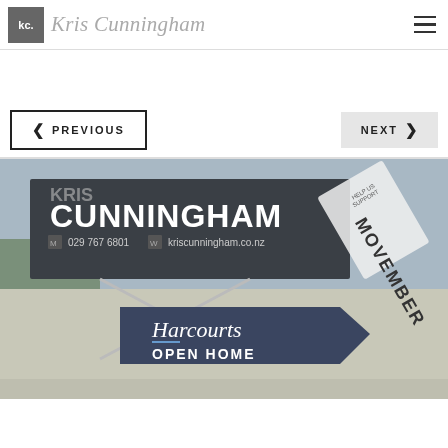kc. Kris Cunningham
PREVIOUS | NEXT
[Figure (photo): Outdoor real estate signage photo showing a Kris Cunningham Harcourts sign with 'CUNNINGHAM', phone number '029 767 6801', website 'kriscunningham.co.nz', and a Harcourts OPEN HOME sign below. A Movember charity sticker is visible on the right side of the main sign.]